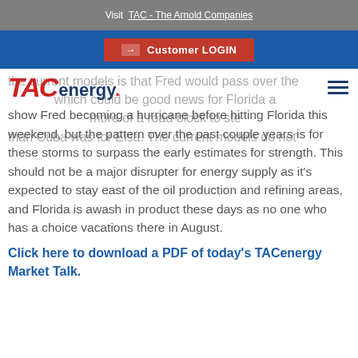Visit TAC - The Arnold Companies
Customer LOGIN
the current models is that Fred would pass over the which could be good news for Florida a more of a road block to ste than Cuba was for Elsa. The current models do not show Fred becoming a hurricane before hitting Florida this weekend, but the pattern over the past couple years is for these storms to surpass the early estimates for strength. This should not be a major disrupter for energy supply as it's expected to stay east of the oil production and refining areas, and Florida is awash in product these days as no one who has a choice vacations there in August.
Click here to download a PDF of today's TACenergy Market Talk.